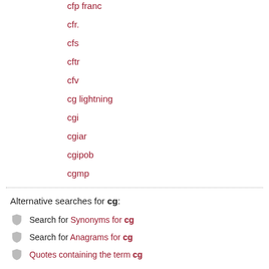cfp franc
cfr.
cfs
cftr
cfv
cg lightning
cgi
cgiar
cgipob
cgmp
Alternative searches for cg:
Search for Synonyms for cg
Search for Anagrams for cg
Quotes containing the term cg